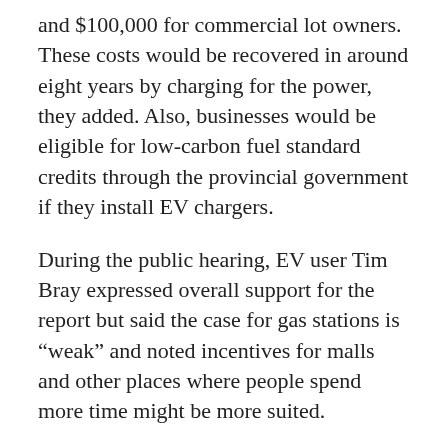and $100,000 for commercial lot owners. These costs would be recovered in around eight years by charging for the power, they added. Also, businesses would be eligible for low-carbon fuel standard credits through the provincial government if they install EV chargers.
During the public hearing, EV user Tim Bray expressed overall support for the report but said the case for gas stations is “weak” and noted incentives for malls and other places where people spend more time might be more suited.
“If we really want to move the needle on EV adoption, the thing to do is to focus on getting chargers into work locations, and especially condo garages… I know the issue is difficult and has awful sharp edges,” he said.